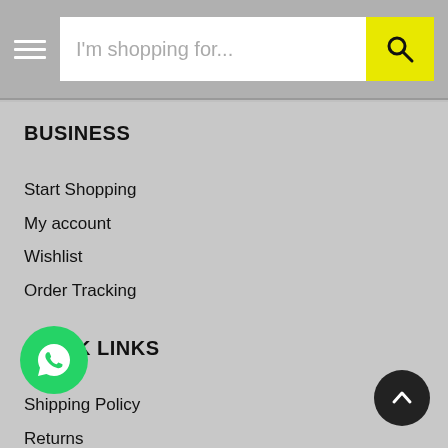I'm shopping for...
BUSINESS
Start Shopping
My account
Wishlist
Order Tracking
QUICK LINKS
Shipping Policy
Returns
Terms & Conditions
Website Disclaimer
Privacy Policy